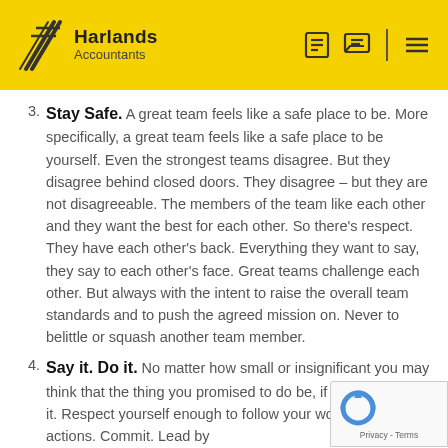Harlands Accountants
3. Stay Safe. A great team feels like a safe place to be. More specifically, a great team feels like a safe place to be yourself. Even the strongest teams disagree. But they disagree behind closed doors. They disagree – but they are not disagreeable. The members of the team like each other and they want the best for each other. So there's respect. They have each other's back. Everything they want to say, they say to each other's face. Great teams challenge each other. But always with the intent to raise the overall team standards and to push the agreed mission on. Never to belittle or squash another team member.
4. Say it. Do it. No matter how small or insignificant you may think that the thing you promised to do be, if you say it – do it. Respect yourself enough to follow your words with actions. Commit. Lead by